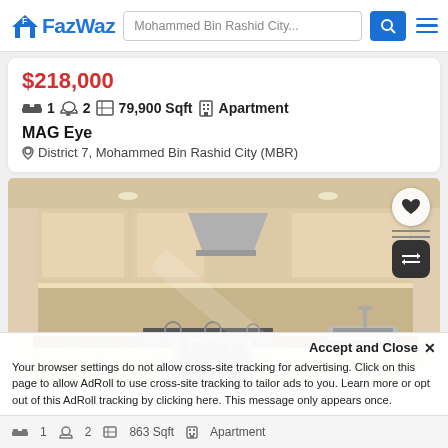FazWaz — Mohammed Bin Rashid City...
$218,000
1 bed  2 bath  79,900 Sqft  Apartment
MAG Eye
District 7, Mohammed Bin Rashid City (MBR)
[Figure (photo): Interior kitchen photo of a modern apartment with cream-colored cabinets, dark countertops, and built-in appliances]
Accept and Close ×
Your browser settings do not allow cross-site tracking for advertising. Click on this page to allow AdRoll to use cross-site tracking to tailor ads to you. Learn more or opt out of this AdRoll tracking by clicking here. This message only appears once.
1  2  863 Sqft  Apartment